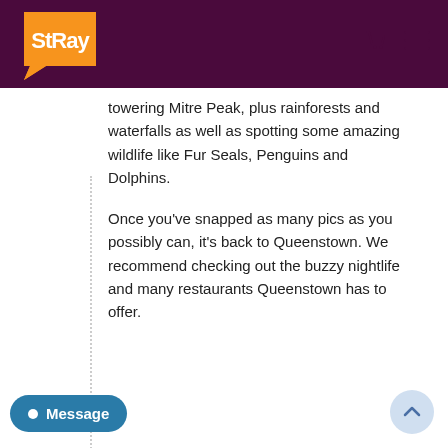[Figure (logo): Stray travel company logo — orange speech-bubble shape with white bold 'StRay' text]
towering Mitre Peak, plus rainforests and waterfalls as well as spotting some amazing wildlife like Fur Seals, Penguins and Dolphins.
Once you've snapped as many pics as you possibly can, it's back to Queenstown. We recommend checking out the buzzy nightlife and many restaurants Queenstown has to offer.